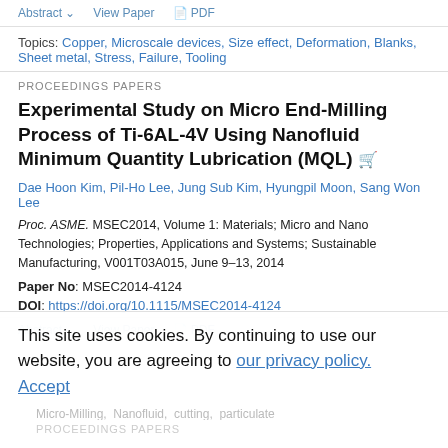Abstract  View Paper  PDF
Topics: Copper, Microscale devices, Size effect, Deformation, Blanks, Sheet metal, Stress, Failure, Tooling
PROCEEDINGS PAPERS
Experimental Study on Micro End-Milling Process of Ti-6AL-4V Using Nanofluid Minimum Quantity Lubrication (MQL)
Dae Hoon Kim, Pil-Ho Lee, Jung Sub Kim, Hyungpil Moon, Sang Won Lee
Proc. ASME. MSEC2014, Volume 1: Materials; Micro and Nano Technologies; Properties, Applications and Systems; Sustainable Manufacturing, V001T03A015, June 9–13, 2014
Paper No: MSEC2014-4124
DOI: https://doi.org/10.1115/MSEC2014-4124
This site uses cookies. By continuing to use our website, you are agreeing to our privacy policy. Accept